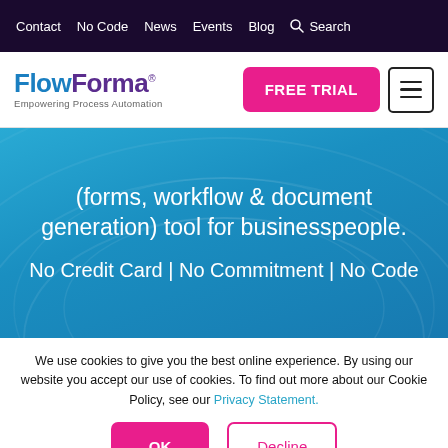Contact  No Code  News  Events  Blog  Search
[Figure (logo): FlowForma logo with tagline 'Empowering Process Automation']
(forms, workflow & document generation) tool for businesspeople.
No Credit Card | No Commitment | No Code
We use cookies to give you the best online experience. By using our website you accept our use of cookies. To find out more about our Cookie Policy, see our Privacy Statement.
OK   Decline